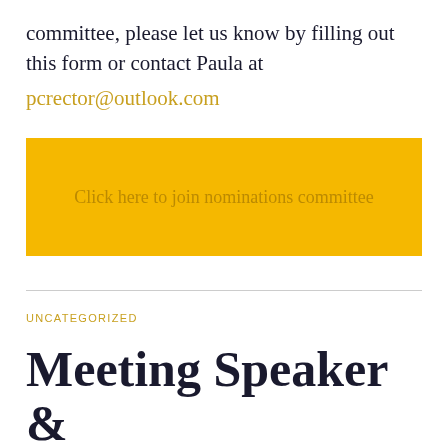committee, please let us know by filling out this form or contact Paula at pcrector@outlook.com
[Figure (other): Yellow button with text 'Click here to join nominations committee']
UNCATEGORIZED
Meeting Speaker & Topic Request,